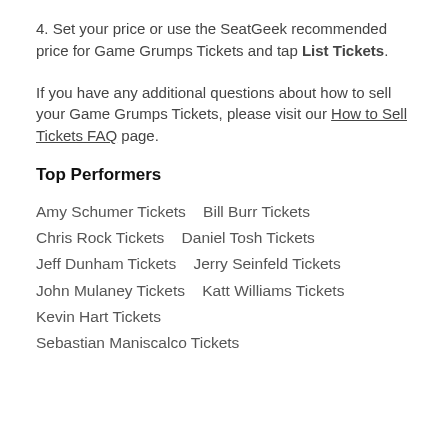4. Set your price or use the SeatGeek recommended price for Game Grumps Tickets and tap List Tickets.
If you have any additional questions about how to sell your Game Grumps Tickets, please visit our How to Sell Tickets FAQ page.
Top Performers
Amy Schumer Tickets
Bill Burr Tickets
Chris Rock Tickets
Daniel Tosh Tickets
Jeff Dunham Tickets
Jerry Seinfeld Tickets
John Mulaney Tickets
Katt Williams Tickets
Kevin Hart Tickets
Sebastian Maniscalco Tickets